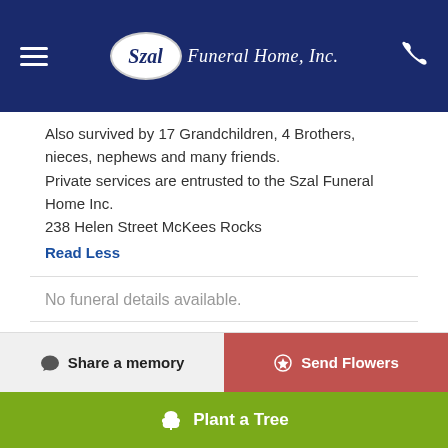Szal Funeral Home, Inc.
Also survived by 17 Grandchildren, 4 Brothers, nieces, nephews and many friends.
Private services are entrusted to the Szal Funeral Home Inc.
238 Helen Street McKees Rocks
Read Less
No funeral details available.
Photo Album
Share a memory
Send Flowers
Plant a Tree